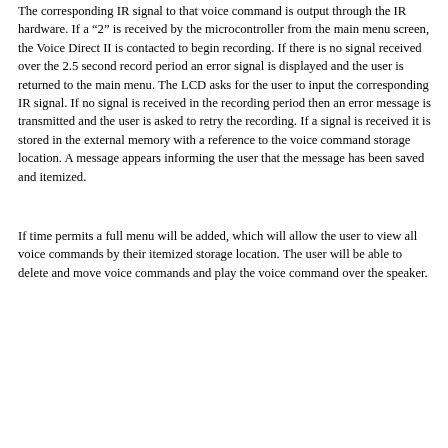The corresponding IR signal to that voice command is output through the IR hardware.  If a “2” is received by the microcontroller from the main menu screen, the Voice Direct II is contacted to begin recording.  If there is no signal received over the 2.5 second record period an error signal is displayed and the user is returned to the main menu.  The LCD asks for the user to input the corresponding IR signal.  If no signal is received in the recording period then an error message is transmitted and the user is asked to retry the recording.  If a signal is received it is stored in the external memory with a reference to the voice command storage location.  A message appears informing the user that the message has been saved and itemized.
If time permits a full menu will be added, which will allow the user to view all voice commands by their itemized storage location.  The user will be able to delete and move voice commands and play the voice command over the speaker.